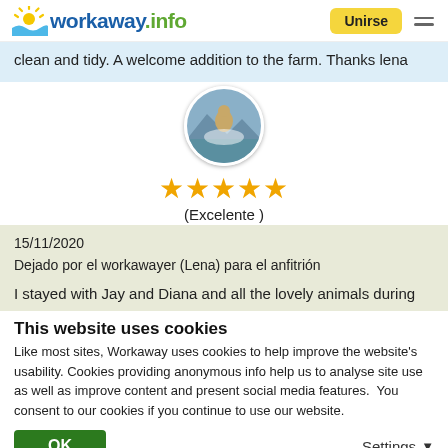workaway.info | Unirse
clean and tidy. A welcome addition to the farm. Thanks lena
[Figure (photo): Circular avatar photo of a person surfing/jumping against a coastal background]
★★★★★
(Excelente )
15/11/2020
Dejado por el workawayer (Lena) para el anfitrión
I stayed with Jay and Diana and all the lovely animals during
This website uses cookies
Like most sites, Workaway uses cookies to help improve the website's usability. Cookies providing anonymous info help us to analyse site use as well as improve content and present social media features.  You consent to our cookies if you continue to use our website.
OK    Settings